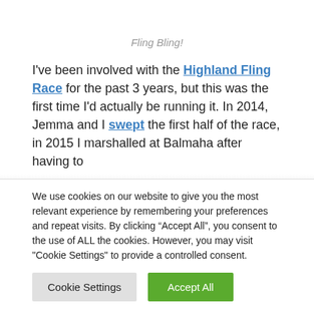Fling Bling!
I've been involved with the Highland Fling Race for the past 3 years, but this was the first time I'd actually be running it. In 2014, Jemma and I swept the first half of the race, in 2015 I marshalled at Balmaha after having to
We use cookies on our website to give you the most relevant experience by remembering your preferences and repeat visits. By clicking “Accept All”, you consent to the use of ALL the cookies. However, you may visit "Cookie Settings" to provide a controlled consent.